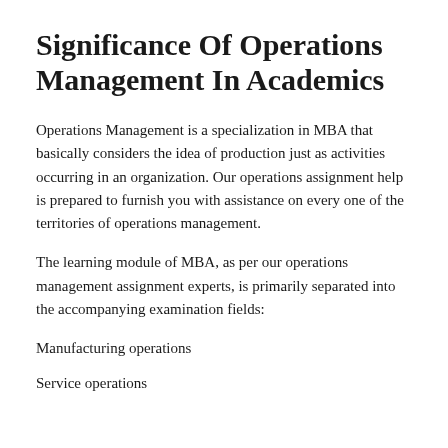Significance Of Operations Management In Academics
Operations Management is a specialization in MBA that basically considers the idea of production just as activities occurring in an organization. Our operations assignment help is prepared to furnish you with assistance on every one of the territories of operations management.
The learning module of MBA, as per our operations management assignment experts, is primarily separated into the accompanying examination fields:
Manufacturing operations
Service operations